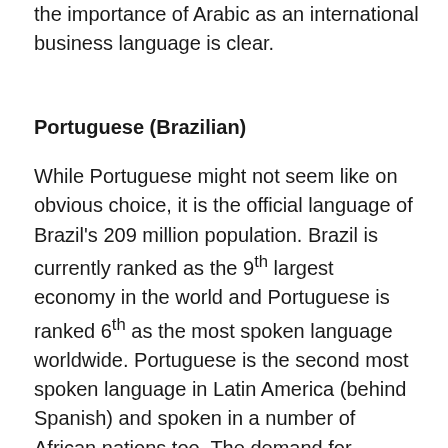the importance of Arabic as an international business language is clear.
Portuguese (Brazilian)
While Portuguese might not seem like on obvious choice, it is the official language of Brazil's 209 million population. Brazil is currently ranked as the 9th largest economy in the world and Portuguese is ranked 6th as the most spoken language worldwide. Portuguese is the second most spoken language in Latin America (behind Spanish) and spoken in a number of African nations too. The demand for Portuguese in the US is also increasing and 'although Portuguese has always been an important world language, it has taken on the language experienced